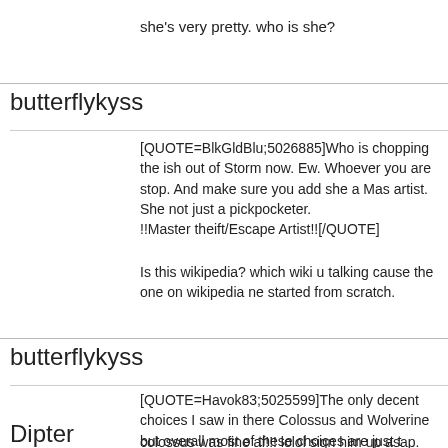she's very pretty. who is she?
butterflykyss
[QUOTE=BlkGldBlu;5026885]Who is chopping the ish out of Storm now. Ew. Whoever you are stop. And make sure you add she a Master artist. She not just a pickpocketer.
!!Master theift/Escape Artist!![/QUOTE]
Is this wikipedia? which wiki u talking cause the one on wikipedia ne started from scratch.
butterflykyss
[QUOTE=Havok83;5025599]The only decent choices I saw in there Colossus and Wolverine but overall most of these choices are just t
colossus was fine af!!! lolol sign him up asap.
Dipter